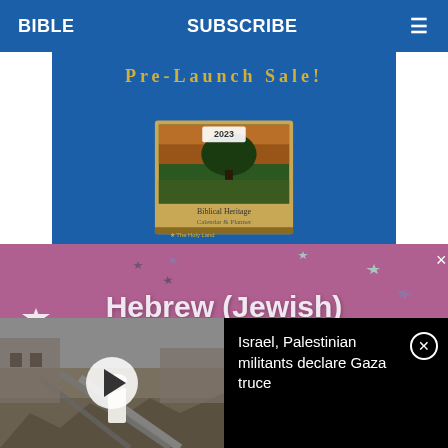BIBLE  SUBSCRIBE  ≡
[Figure (photo): Advertisement banner with 'Pre-Launch Sale!' text and a 2023 calendar book image on a dark blue background]
[Figure (infographic): Purple/mauve advertisement panel with stars decoration reading 'Hebrew (Jewish) Birthday Calculator']
[Figure (photo): Video thumbnail showing a person in white robes standing amid rubble/destroyed buildings in Gaza, with a play button overlay]
Israel, Palestinian militants declare Gaza truce